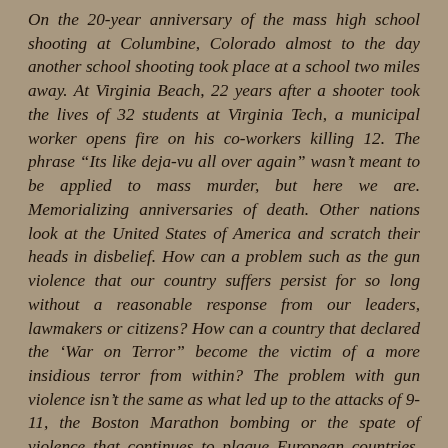On the 20-year anniversary of the mass high school shooting at Columbine, Colorado almost to the day another school shooting took place at a school two miles away. At Virginia Beach, 22 years after a shooter took the lives of 32 students at Virginia Tech, a municipal worker opens fire on his co-workers killing 12. The phrase “Its like deja-vu all over again” wasn’t meant to be applied to mass murder, but here we are. Memorializing anniversaries of death. Other nations look at the United States of America and scratch their heads in disbelief. How can a problem such as the gun violence that our country suffers persist for so long without a reasonable response from our leaders, lawmakers or citizens? How can a country that declared the ‘War on Terror” become the victim of a more insidious terror from within? The problem with gun violence isn’t the same as what led up to the attacks of 9-11, the Boston Marathon bombing or the spate of violence that continues to plague European countries. This is because...